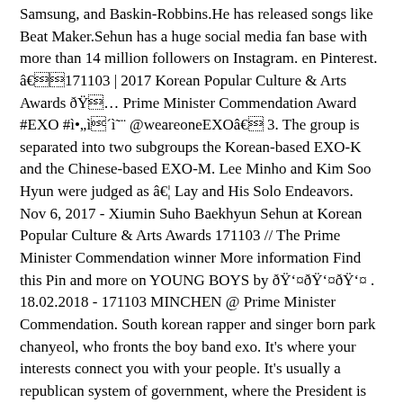Samsung, and Baskin-Robbins.He has released songs like Beat Maker.Sehun has a huge social media fan base with more than 14 million followers on Instagram. en Pinterest. â171103 | 2017 Korean Popular Culture & Arts Awards ð Prime Minister Commendation Award #EXO #ìì @weareoneEXOâ 3. The group is separated into two subgroups the Korean-based EXO-K and the Chinese-based EXO-M. Lee Minho and Kim Soo Hyun were judged as â¦ Lay and His Solo Endeavors. Nov 6, 2017 - Xiumin Suho Baekhyun Sehun at Korean Popular Culture & Arts Awards 171103 // The Prime Minister Commendation winner More information Find this Pin and more on YOUNG BOYS by ðð¤ðð¤ðð¤ . 18.02.2018 - 171103 MINCHEN @ Prime Minister Commendation. South korean rapper and singer born park chanyeol, who fronts the boy band exo. It's where your interests connect you with your people. It's usually a republican system of government, where the President is the figurehead (the head of state) but the Prime Minister is the head of government with greater executive power (although the manner in which the exact share of power is distributed between both positions can vary). congratulations boys !! New Artist Award (Exo-K) KBS Song Festival. The merit is given to recognize those who have excelled in their respective fields. Group EXO Receives âMinister of Culture, Sports and Tourism Commendationâ S.M.Entertainment (hereinafter SM) producer and songwriter Yoo Young-jin and globally popular EXO were honored as recipients of the â2014